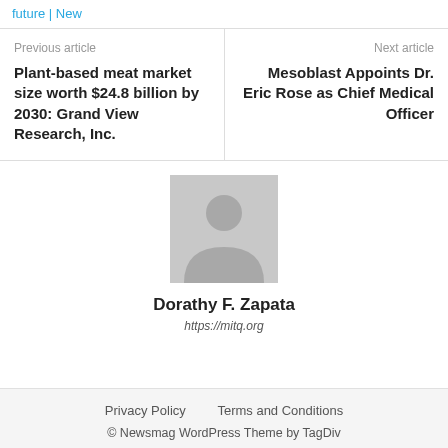future | New
Previous article
Plant-based meat market size worth $24.8 billion by 2030: Grand View Research, Inc.
Next article
Mesoblast Appoints Dr. Eric Rose as Chief Medical Officer
[Figure (photo): Default author avatar placeholder - grey silhouette of a person on grey background]
Dorathy F. Zapata
https://mitq.org
Privacy Policy   Terms and Conditions
© Newsmag WordPress Theme by TagDiv